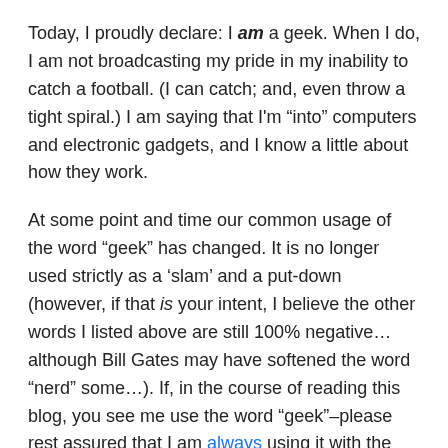Today, I proudly declare: I am a geek. When I do, I am not broadcasting my pride in my inability to catch a football. (I can catch; and, even throw a tight spiral.) I am saying that I'm “into” computers and electronic gadgets, and I know a little about how they work.
At some point and time our common usage of the word “geek” has changed. It is no longer used strictly as a ‘slam’ and a put-down (however, if that is your intent, I believe the other words I listed above are still 100% negative… although Bill Gates may have softened the word “nerd” some…). If, in the course of reading this blog, you see me use the word “geek”–please rest assured that I am always using it with the nicest of meanings. I even use “geek” as a compliment. Really.